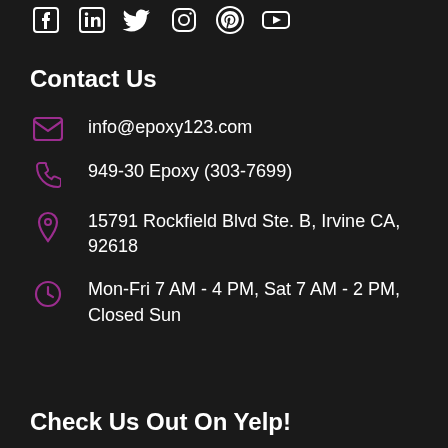[Figure (illustration): Social media icons: Facebook, LinkedIn, Twitter, Instagram, Pinterest, YouTube — white icons on dark background]
Contact Us
info@epoxy123.com
949-30 Epoxy (303-7699)
15791 Rockfield Blvd Ste. B, Irvine CA, 92618
Mon-Fri 7 AM - 4 PM, Sat 7 AM - 2 PM, Closed Sun
Check Us Out On Yelp!